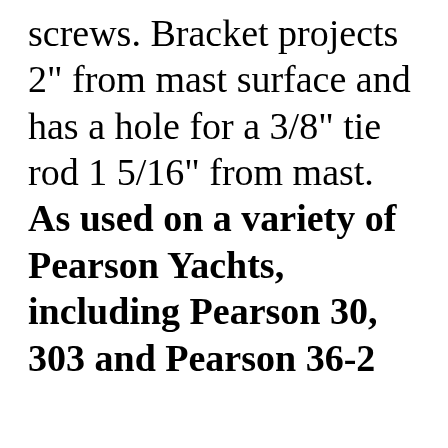screws. Bracket projects 2" from mast surface and has a hole for a 3/8" tie rod 1 5/16" from mast. As used on a variety of Pearson Yachts, including Pearson 30, 303 and Pearson 36-2